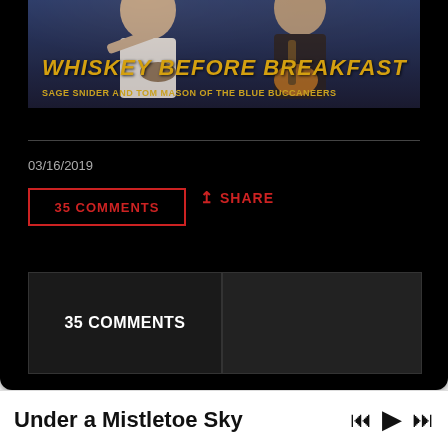[Figure (photo): Album art for 'Whiskey Before Breakfast' by Sage Snider and Tom Mason of the Blue Buccaneers, showing two musicians with violin and guitar against a dark blue background]
03/16/2019
35 COMMENTS
SHARE
35 COMMENTS
Under a Mistletoe Sky